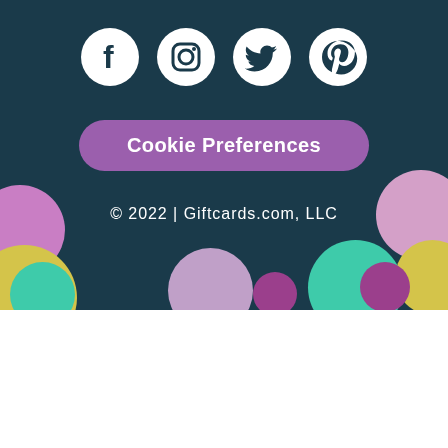[Figure (illustration): Dark teal background section with social media icons (Facebook, Instagram, Twitter, Pinterest), a purple 'Cookie Preferences' button, copyright text, and colorful decorative circles (pink, purple, yellow, teal, mauve)]
Cookie Preferences
© 2022 | Giftcards.com, LLC
The Giftcards.com Visa® Gift Card, Visa Virtual Gift Card, and Visa eGift Card are issued by MetaBank®,N.A., Member FDIC,